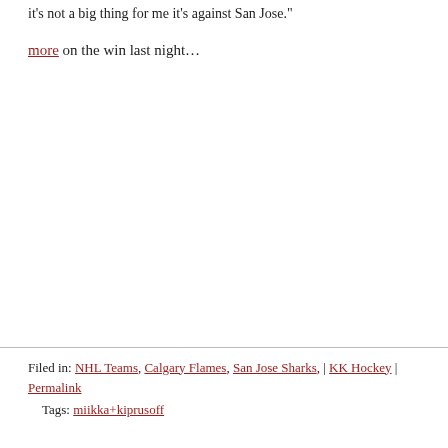it's not a big thing for me it's against San Jose."
more on the win last night…
Filed in: NHL Teams, Calgary Flames, San Jose Sharks, | KK Hockey | Permalink
Tags: miikka+kiprusoff